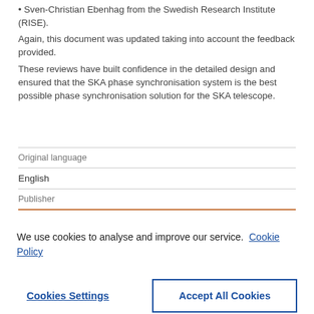• Sven-Christian Ebenhag from the Swedish Research Institute (RISE).
Again, this document was updated taking into account the feedback provided.
These reviews have built confidence in the detailed design and ensured that the SKA phase synchronisation system is the best possible phase synchronisation solution for the SKA telescope.
| Original language |  |
| English |  |
| Publisher |  |
We use cookies to analyse and improve our service. Cookie Policy
Cookies Settings
Accept All Cookies